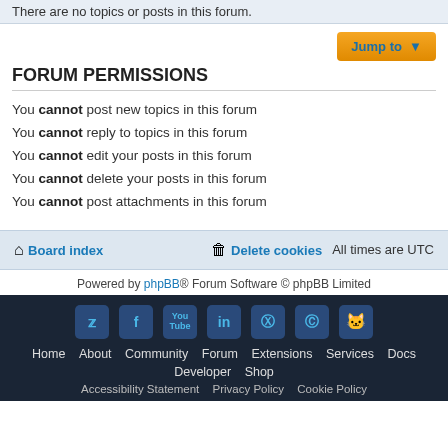There are no topics or posts in this forum.
Jump to
FORUM PERMISSIONS
You cannot post new topics in this forum
You cannot reply to topics in this forum
You cannot edit your posts in this forum
You cannot delete your posts in this forum
You cannot post attachments in this forum
Board index   Delete cookies   All times are UTC
Powered by phpBB® Forum Software © phpBB Limited
Home About Community Forum Extensions Services Docs Developer Shop Accessibility Statement Privacy Policy Cookie Policy